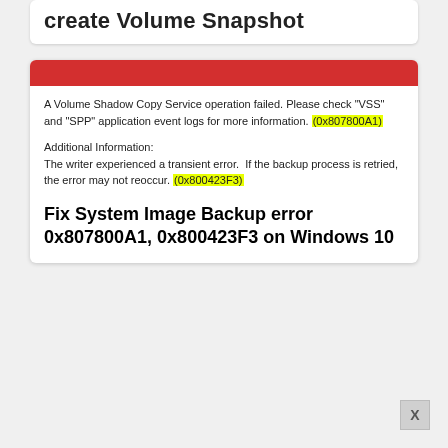create Volume Snapshot
[Figure (screenshot): Error dialog screenshot showing a red bar at top, error message text about Volume Shadow Copy Service operation failed with error codes 0x807800A1 and 0x800423F3 highlighted in yellow, and a bold title 'Fix System Image Backup error 0x807800A1, 0x800423F3 on Windows 10']
A Volume Shadow Copy Service operation failed. Please check "VSS" and "SPP" application event logs for more information. (0x807800A1)
Additional Information:
The writer experienced a transient error.  If the backup process is retried, the error may not reoccur. (0x800423F3)
Fix System Image Backup error 0x807800A1, 0x800423F3 on Windows 10